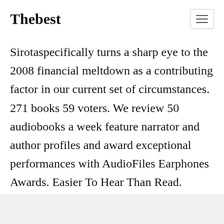Thebest
Sirotaspecifically turns a sharp eye to the 2008 financial meltdown as a contributing factor in our current set of circumstances. 271 books 59 voters. We review 50 audiobooks a week feature narrator and author profiles and award exceptional performances with AudioFiles Earphones Awards. Easier To Hear Than Read.